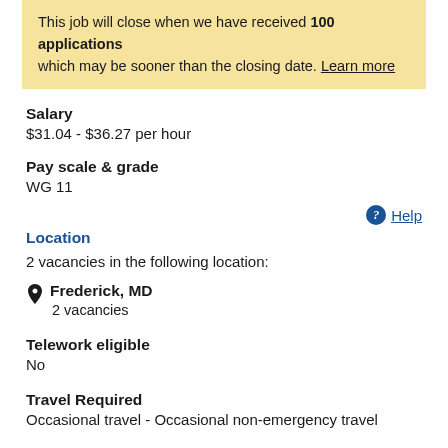This job will close when we have received 100 applications which may be sooner than the closing date. Learn more
Salary
$31.04 - $36.27 per hour
Pay scale & grade
WG 11
Location
2 vacancies in the following location:
Frederick, MD
2 vacancies
Telework eligible
No
Travel Required
Occasional travel - Occasional non-emergency travel